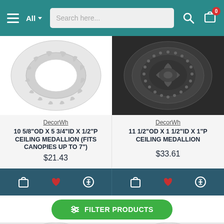[Figure (screenshot): E-commerce website navigation bar with hamburger menu, All dropdown, search bar, search icon, and cart icon with badge showing 0]
[Figure (photo): White decorative ceiling medallion ring with ribbed border design, top-down view]
[Figure (photo): Dark-colored ornate ceiling medallion with floral/leaf relief decoration]
DecorWh
DecorWh
10 5/8"OD X 5 3/4"ID X 1/2"P CEILING MEDALLION (FITS CANOPIES UP TO 7")
11 1/2"OD X 1 1/2"ID X 1"P CEILING MEDALLION
$21.43
$33.61
[Figure (screenshot): Product action bar with shopping bag, heart, and compare icons for left product]
[Figure (screenshot): Product action bar with shopping bag, heart, and compare icons for right product]
[Figure (screenshot): Green Filter Products button with filter icon]
[Figure (photo): Partial view of another ceiling medallion product at bottom left]
[Figure (photo): Partial view of another ceiling medallion product at bottom right]